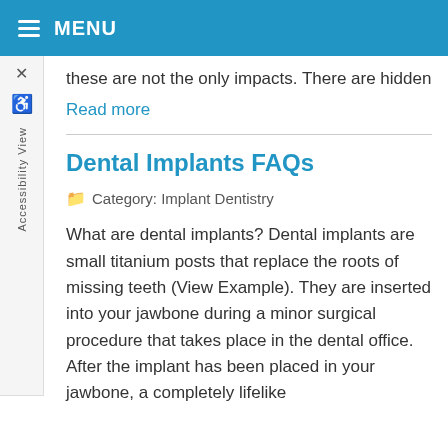MENU
these are not the only impacts. There are hidden
Read more
Dental Implants FAQs
Category: Implant Dentistry
What are dental implants? Dental implants are small titanium posts that replace the roots of missing teeth (View Example). They are inserted into your jawbone during a minor surgical procedure that takes place in the dental office. After the implant has been placed in your jawbone, a completely lifelike